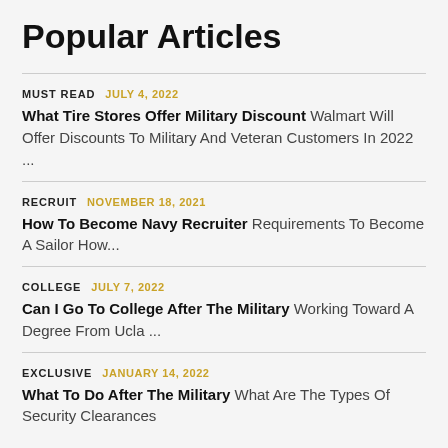Popular Articles
MUST READ   JULY 4, 2022
What Tire Stores Offer Military Discount   Walmart Will Offer Discounts To Military And Veteran Customers In 2022 ...
RECRUIT   NOVEMBER 18, 2021
How To Become Navy Recruiter   Requirements To Become A Sailor How...
COLLEGE   JULY 7, 2022
Can I Go To College After The Military   Working Toward A Degree From Ucla ...
EXCLUSIVE   JANUARY 14, 2022
What To Do After The Military   What Are The Types Of Security Clearances